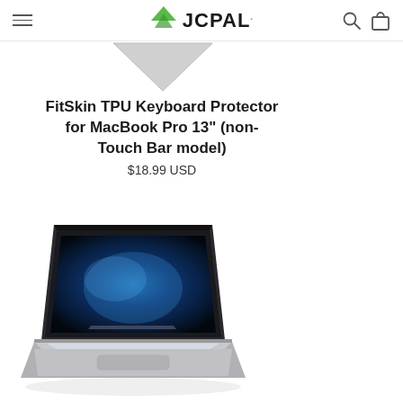JCPAL
[Figure (illustration): Gray downward-pointing chevron/arrow graphic at top of page]
FitSkin TPU Keyboard Protector for MacBook Pro 13" (non-Touch Bar model)
$18.99 USD
[Figure (photo): MacBook Pro laptop shown open at an angle, displaying a blue galaxy/earth screensaver, with a transparent TPU keyboard protector installed on the keyboard]